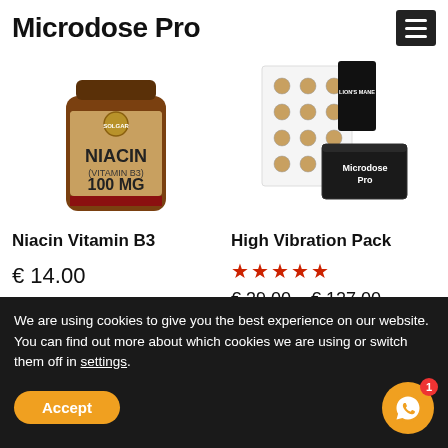Microdose Pro
[Figure (photo): Bottle of Niacin Vitamin B3 100mg supplement by Solgar]
[Figure (photo): Microdose Pro High Vibration Pack with black box, gel capsules, and Lion's Mane packaging]
Niacin Vitamin B3
High Vibration Pack
★★★★★
€ 14.00
€ 39.00 – € 127.00
We are using cookies to give you the best experience on our website. You can find out more about which cookies we are using or switch them off in settings.
Accept